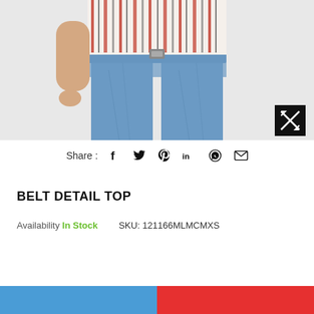[Figure (photo): Woman wearing a striped top and blue jeans, product photo for Belt Detail Top]
Share : f  t  p  in  (whatsapp)  (email)
BELT DETAIL TOP
Availability In Stock    SKU: 121166MLMCMXS